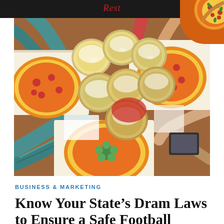Restaurant (partial)
[Figure (photo): Overhead view of a group of people clinking beer mugs over a table with multiple pizzas in boxes, viewed from above]
BUSINESS & MARKETING
Know Your State’s Dram Laws to Ensure a Safe Football